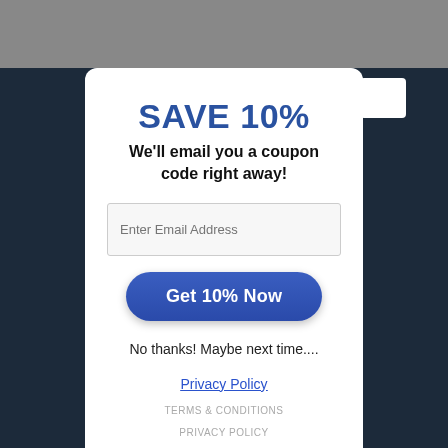SAVE 10%
We'll email you a coupon code right away!
Enter Email Address
Get 10% Now
No thanks! Maybe next time....
Privacy Policy
TERMS & CONDITIONS
PRIVACY POLICY